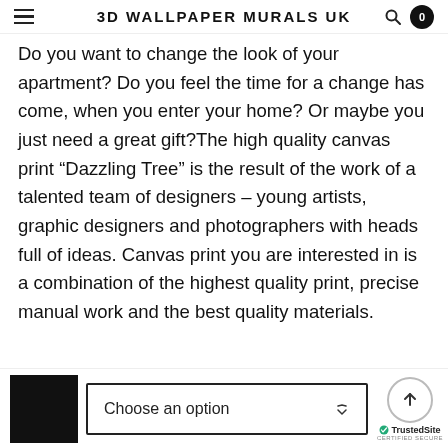3D WALLPAPER MURALS UK
Do you want to change the look of your apartment? Do you feel the time for a change has come, when you enter your home? Or maybe you just need a great gift?The high quality canvas print “Dazzling Tree” is the result of the work of a talented team of designers – young artists, graphic designers and photographers with heads full of ideas. Canvas print you are interested in is a combination of the highest quality print, precise manual work and the best quality materials.
[Figure (other): Black thumbnail image square on the left, followed by a 'Choose an option' dropdown selector button, and a TrustedSite certified secure badge on the right.]